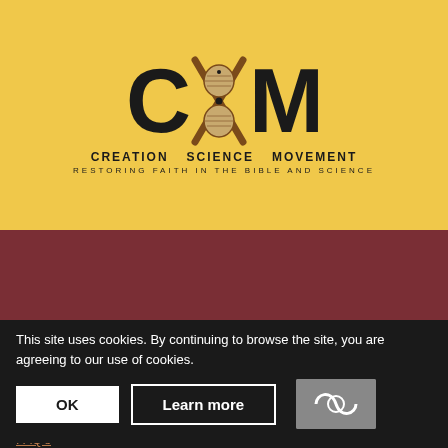[Figure (logo): CSM Creation Science Movement logo with DNA helix between letter C and M on golden yellow background. Below reads CREATION SCIENCE MOVEMENT and RESTORING FAITH IN THE BIBLE AND SCIENCE.]
CSM
About Us
History
Mission
Activities
FAQ's
This site uses cookies. By continuing to browse the site, you are agreeing to our use of cookies.